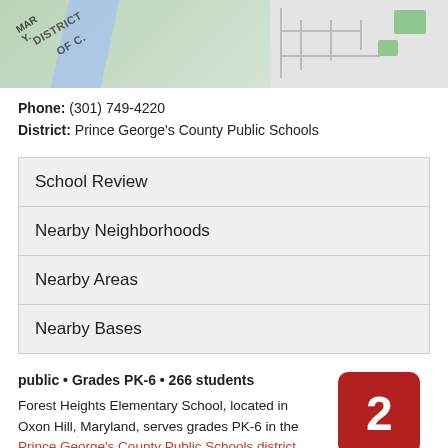[Figure (map): Map showing Forest Heights area with DC/Maryland border, blue water feature on left side and neighborhood streets on right side]
Phone: (301) 749-4220
District: Prince George's County Public Schools
| School Review |
| Nearby Neighborhoods |
| Nearby Areas |
| Nearby Bases |
public • Grades PK-6 • 266 students
[Figure (other): GreatSchools Rating badge showing the number 2 in a red rounded square]
Forest Heights Elementary School, located in Oxon Hill, Maryland, serves grades PK-6 in the Prince George's County Public Schools district. Based on its state test results, it has received a GreatSchools Rating of 2 out of 10.